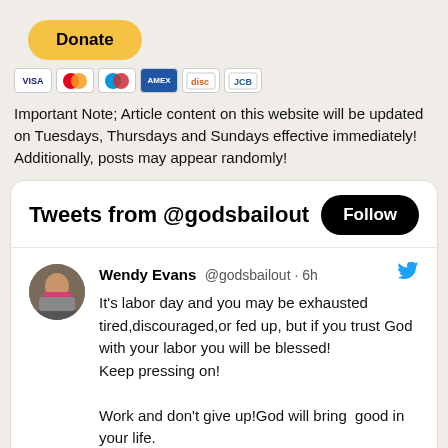[Figure (other): PayPal Donate button, yellow rounded rectangle with bold text 'Donate']
[Figure (other): Payment method icons: Visa, Mastercard, Maestro, American Express, and two other card logos]
Important Note; Article content on this website will be updated on Tuesdays, Thursdays and Sundays effective immediately! Additionally, posts may appear randomly!
[Figure (screenshot): Twitter/X widget showing 'Tweets from @godsbailout' header with Follow button, and a tweet by Wendy Evans @godsbailout 6h: 'It's labor day and you may be exhausted tired,discouraged,or fed up, but if you trust God with your labor you will be blessed! Keep pressing on! Work and don't give up!God will bring good in your life. rpb.li/EJrfAU']